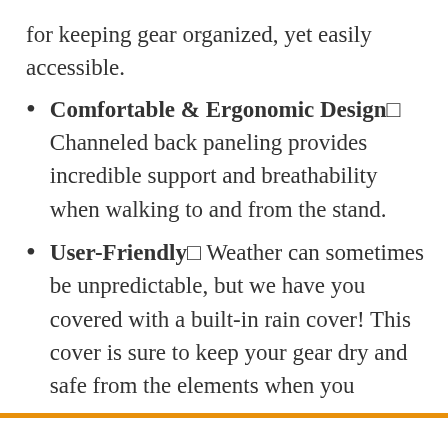for keeping gear organized, yet easily accessible.
Comfortable & Ergonomic Design□ Channeled back paneling provides incredible support and breathability when walking to and from the stand.
User-Friendly□ Weather can sometimes be unpredictable, but we have you covered with a built-in rain cover! This cover is sure to keep your gear dry and safe from the elements when you
terproof Breatha